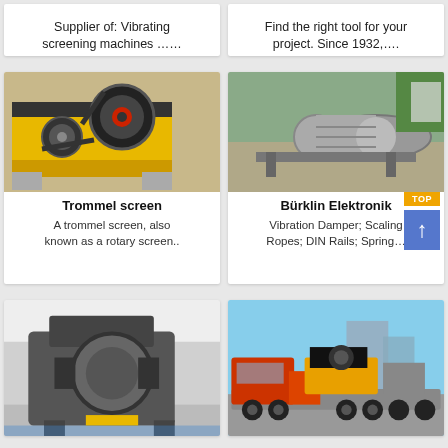Supplier of: Vibrating screening machines ……
Find the right tool for your project. Since 1932,….
[Figure (photo): Yellow jaw crusher machine on a construction site]
[Figure (photo): Trommel screen / rotary drum screen on a construction site]
Trommel screen

A trommel screen, also known as a rotary screen..
Bürklin Elektronik

Vibration Damper; Scaling Ropes; DIN Rails; Spring…
[Figure (photo): Large hammer mill / impact crusher in an industrial workshop]
[Figure (photo): Red and yellow truck on a flatbed trailer in an industrial yard]